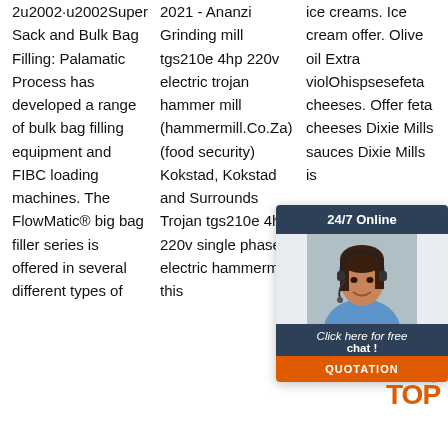2u2002·u2002Super Sack and Bulk Bag Filling: Palamatic Process has developed a range of bulk bag filling equipment and FIBC loading machines. The FlowMatic® big bag filler series is offered in several different types of
2021 - Ananzi Grinding mill tgs210e 4hp 220v electric trojan hammer mill (hammermill.Co.Za) (food security) Kokstad, Kokstad and Surrounds Trojan tgs210e 4hp 220v single phase electric hammermill: this
ice creams. Ice cream offer. Olive oil Extra vi... ol... O... hi... sp... se... se... feta cheeses. Offer feta cheeses Dixie Mills sauces Dixie Mills is the right ch...
[Figure (other): 24/7 Online chat widget overlay with a customer service representative photo, 'Click here for free chat!' text, and an orange QUOTATION button]